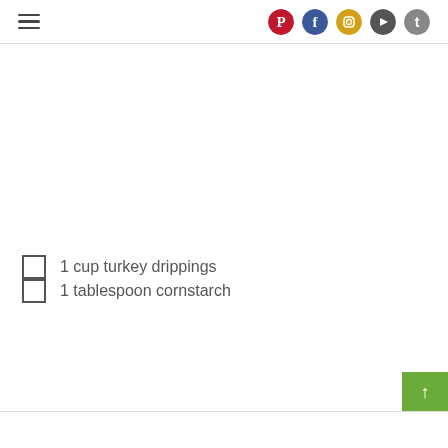Navigation header with hamburger menu and social icons (Pinterest, Facebook, Instagram, YouTube, Twitter)
1 cup turkey drippings
1 tablespoon cornstarch
↑ back to top button